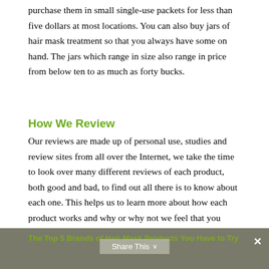purchase them in small single-use packets for less than five dollars at most locations. You can also buy jars of hair mask treatment so that you always have some on hand. The jars which range in size also range in price from below ten to as much as forty bucks.
How We Review
Our reviews are made up of personal use, studies and review sites from all over the Internet, we take the time to look over many different reviews of each product, both good and bad, to find out all there is to know about each one. This helps us to learn more about how each product works and why or why not we feel that you should buy it.
The Top 5 Brands of Hair Mask Products You Have to Try